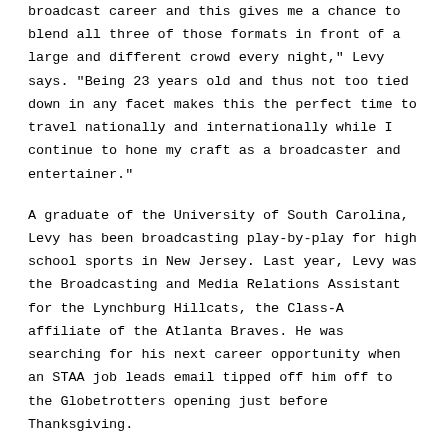broadcast career and this gives me a chance to blend all three of those formats in front of a large and different crowd every night," Levy says. "Being 23 years old and thus not too tied down in any facet makes this the perfect time to travel nationally and internationally while I continue to hone my craft as a broadcaster and entertainer."
A graduate of the University of South Carolina, Levy has been broadcasting play-by-play for high school sports in New Jersey. Last year, Levy was the Broadcasting and Media Relations Assistant for the Lynchburg Hillcats, the Class-A affiliate of the Atlanta Braves. He was searching for his next career opportunity when an STAA job leads email tipped off him off to the Globetrotters opening just before Thanksgiving.